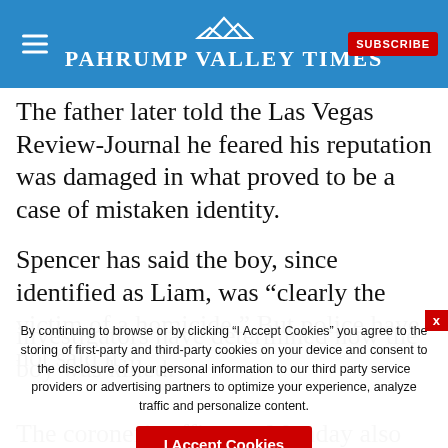Pahrump Valley Times — SUBSCRIBE
The father later told the Las Vegas Review-Journal he feared his reputation was damaged in what proved to be a case of mistaken identity.
Spencer has said the boy, since identified as Liam, was “clearly the victim of a homicide.” But police have not said if investigators have determined how the boy was killed.
The coroner’s office on Monday also released Liam’s [name] provided no further information on dis...
By continuing to browse or by clicking “I Accept Cookies” you agree to the storing of first-party and third-party cookies on your device and consent to the disclosure of your personal information to our third party service providers or advertising partners to optimize your experience, analyze traffic and personalize content.